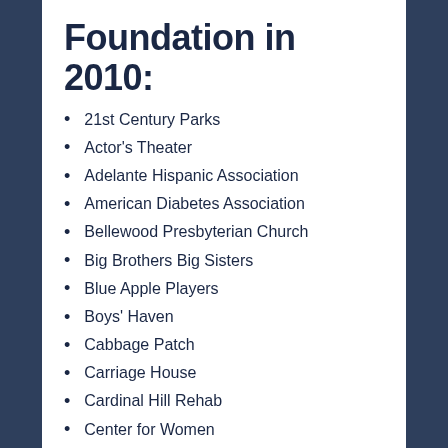Foundation in 2010:
21st Century Parks
Actor's Theater
Adelante Hispanic Association
American Diabetes Association
Bellewood Presbyterian Church
Big Brothers Big Sisters
Blue Apple Players
Boys' Haven
Cabbage Patch
Carriage House
Cardinal Hill Rehab
Center for Women
The Child Connection
Choices, Inc.